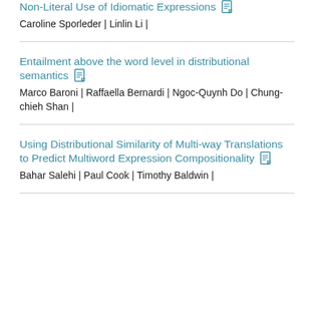Non-Literal Use of Idiomatic Expressions [pdf icon]
Caroline Sporleder | Linlin Li |
Entailment above the word level in distributional semantics [pdf icon]
Marco Baroni | Raffaella Bernardi | Ngoc-Quynh Do | Chung-chieh Shan |
Using Distributional Similarity of Multi-way Translations to Predict Multiword Expression Compositionality [pdf icon]
Bahar Salehi | Paul Cook | Timothy Baldwin |